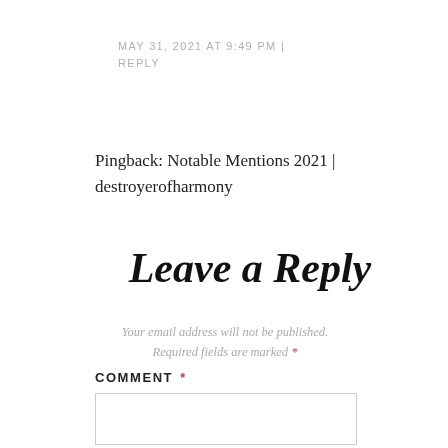MAY 31, 2021 AT 9:49 PM | REPLY
Pingback: Notable Mentions 2021 | destroyerofharmony
Leave a Reply
Your email address will not be published. Required fields are marked *
COMMENT *